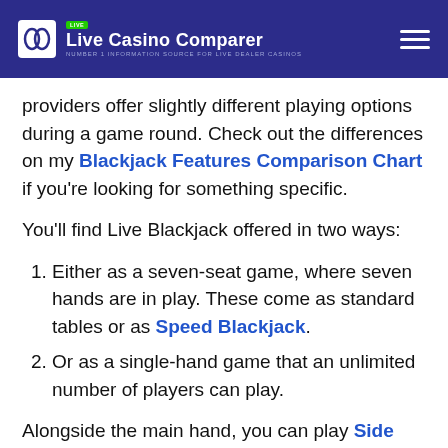Live Casino Comparer — NUMBER 1 INFORMATION SOURCE FOR LIVE DEALER CASINOS
providers offer slightly different playing options during a game round. Check out the differences on my Blackjack Features Comparison Chart if you're looking for something specific.
You'll find Live Blackjack offered in two ways:
Either as a seven-seat game, where seven hands are in play. These come as standard tables or as Speed Blackjack.
Or as a single-hand game that an unlimited number of players can play.
Alongside the main hand, you can play Side Bets. They can differ across tables, and the standard side bets are Perfect Pairs, 21+3, and bet Behind. The less common